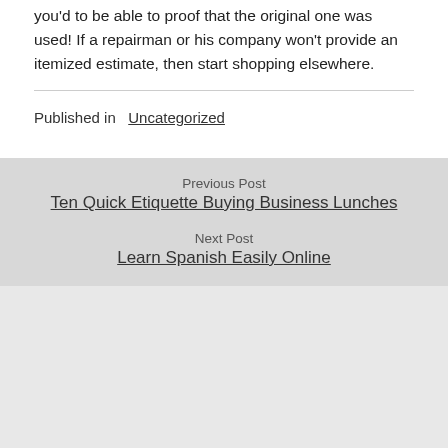you'd to be able to proof that the original one was used! If a repairman or his company won't provide an itemized estimate, then start shopping elsewhere.
Published in Uncategorized
Previous Post
Ten Quick Etiquette Buying Business Lunches
Next Post
Learn Spanish Easily Online